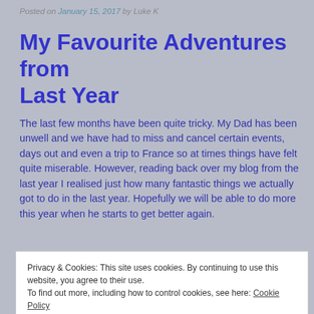Posted on January 15, 2017 by Luke K
My Favourite Adventures from Last Year
The last few months have been quite tricky. My Dad has been unwell and we have had to miss and cancel certain events, days out and even a trip to France so at times things have felt quite miserable. However, reading back over my blog from the last year I realised just how many fantastic things we actually got to do in the last year. Hopefully we will be able to do more this year when he starts to get better again.
This is a quick round up of my top three adventures from the
Privacy & Cookies: This site uses cookies. By continuing to use this website, you agree to their use. To find out more, including how to control cookies, see here: Cookie Policy
This is our absolute favourite family day out, and although we